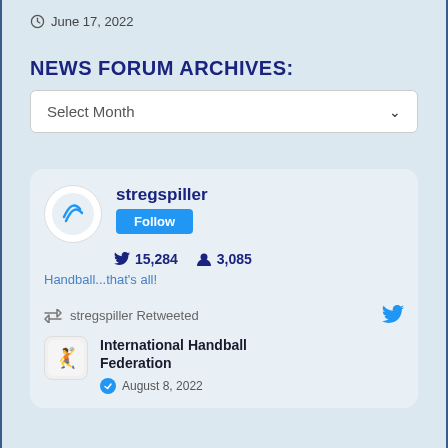June 17, 2022
NEWS FORUM ARCHIVES:
Select Month
[Figure (screenshot): Twitter widget showing stregspiller profile with Follow button, 15,284 tweets, 3,085 followers, bio 'Handball...that's all!', a retweet by stregspiller, and a post from International Handball Federation dated August 8, 2022]